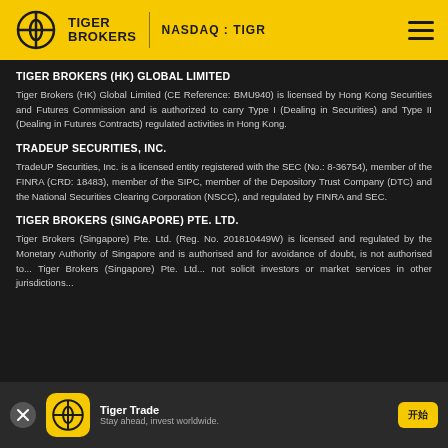TIGER BROKERS | NASDAQ : TIGR
TIGER BROKERS (HK) GLOBAL LIMITED
Tiger Brokers (HK) Global Limited (CE Reference: BMU940) is licensed by Hong Kong Securities and Futures Commission and is authorized to carry Type I (Dealing in Securities) and Type II (Dealing in Futures Contracts) regulated activities in Hong Kong.
TRADEUP SECURITIES, INC.
TradeUP Securities, Inc. is a licensed entity registered with the SEC (No.: 8-36754), member of the FINRA (CRD: 18483), member of the SIPC, member of the Depository Trust Company (DTC) and the National Securities Clearing Corporation (NSCC), and regulated by FINRA and SEC.
TIGER BROKERS (SINGAPORE) PTE. LTD.
Tiger Brokers (Singapore) Pte. Ltd. (Reg. No. 201810449W) is licensed and regulated by the Monetary Authority of Singapore and is authorised to... and for avoidance of doubt, is not authorised to... Tiger Brokers (Singapore) Pte. Ltd... not solicit investors or market services in other jurisdictions...
Tiger Trade — Stay ahead, invest worldwide.